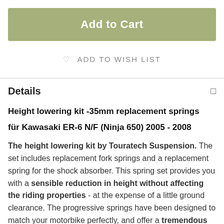Add to Cart
ADD TO WISH LIST
Details
Height lowering kit -35mm replacement springs
für Kawasaki ER-6 N/F (Ninja 650) 2005 - 2008
The height lowering kit by Touratech Suspension. The set includes replacement fork springs and a replacement spring for the shock absorber. This spring set provides you with a sensible reduction in height without affecting the riding properties - at the expense of a little ground clearance. The progressive springs have been designed to match your motorbike perfectly, and offer a tremendous improvement in response and greater safety in extreme situations